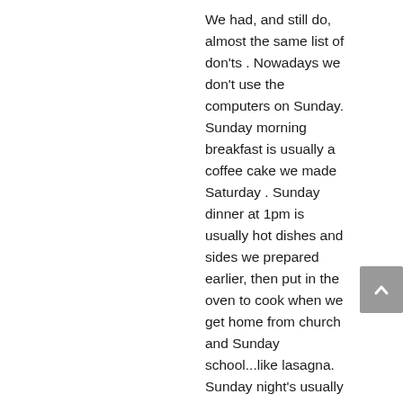We had, and still do, almost the same list of don'ts . Nowadays we don't use the computers on Sunday. Sunday morning breakfast is usually a coffee cake we made Saturday . Sunday dinner at 1pm is usually hot dishes and sides we prepared earlier, then put in the oven to cook when we get home from church and Sunday school...like lasagna. Sunday night's usually things like soup and crackers and cheese, or chili. We're not averse to doing things like making smores or ice cream in the summer or other spur of the moment desserts with what's on hand, especially if visitors drop by.
We could read, play board games, listen to the radio..classical or religious, take walks, nap, knit or sew. Often because of so many relatives there might be a birthday to